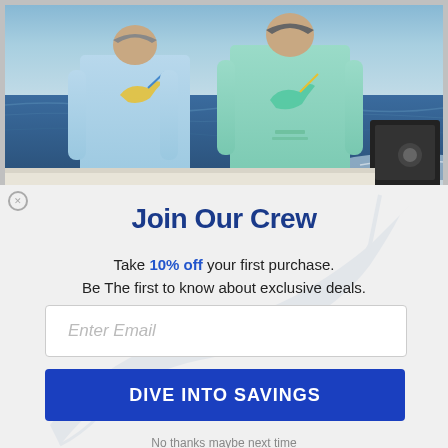[Figure (photo): Two people standing on a boat seen from behind, wearing long-sleeve fishing shirts with marlin/swordfish graphics, looking out at the ocean.]
Join Our Crew
Take 10% off your first purchase. Be The first to know about exclusive deals.
Enter Email
DIVE INTO SAVINGS
No thanks maybe next time